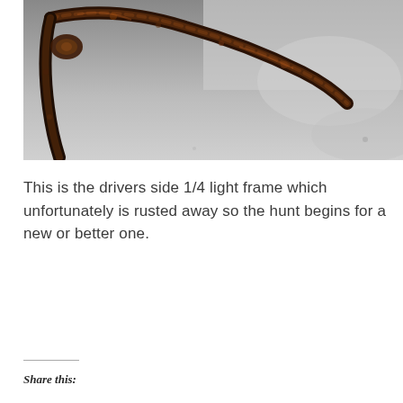[Figure (photo): Close-up photograph of a rusted metal quarter-light window frame against a grey background. The metal frame is heavily corroded with rust, showing dark brown and black oxidation. The frame appears bent or warped.]
This is the drivers side 1/4 light frame which unfortunately is rusted away so the hunt begins for a new or better one.
Share this: